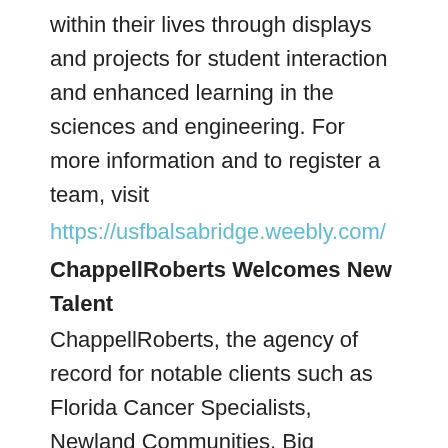within their lives through displays and projects for student interaction and enhanced learning in the sciences and engineering. For more information and to register a team, visit
https://usfbalsabridge.weebly.com/
ChappellRoberts Welcomes New Talent
ChappellRoberts, the agency of record for notable clients such as Florida Cancer Specialists, Newland Communities, Big Brothers Big Sisters of America, DTCC and 3 Daughters Brewing, has added two new team members, including senior art